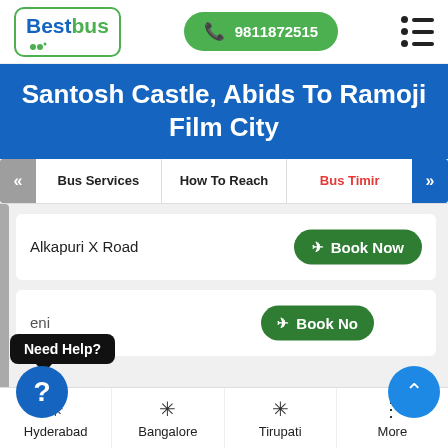BestBus | 9811872515
Santosh Castle, Abids To Ramoji Film City
Bus Services | How To Reach | Bus Timir
Alkapuri X Road
Book Now
Need Help?
Book No
Hyderabad | Bangalore | Tirupati | More